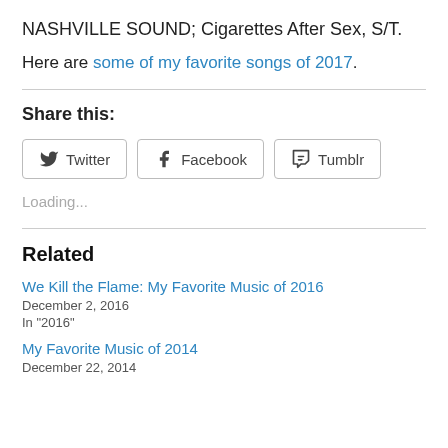NASHVILLE SOUND; Cigarettes After Sex, S/T.
Here are some of my favorite songs of 2017.
Share this:
Loading...
Related
We Kill the Flame: My Favorite Music of 2016
December 2, 2016
In "2016"
My Favorite Music of 2014
December 22, 2014